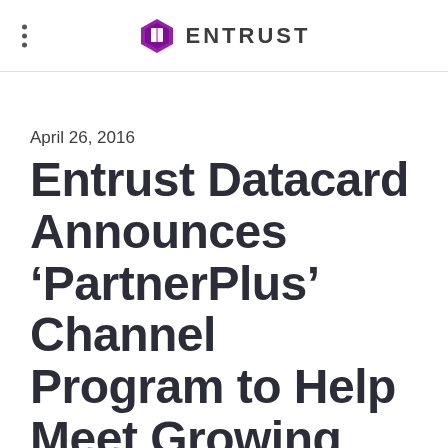ENTRUST
April 26, 2016
Entrust Datacard Announces ‘PartnerPlus’ Channel Program to Help Meet Growing Market Demands for